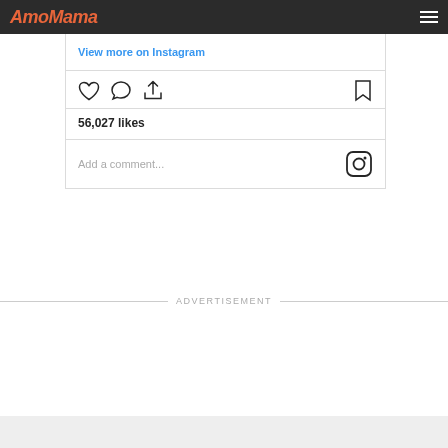AmoMama
View more on Instagram
[Figure (screenshot): Instagram action icons: heart (like), speech bubble (comment), share arrow, and bookmark icon]
56,027 likes
Add a comment...
ADVERTISEMENT